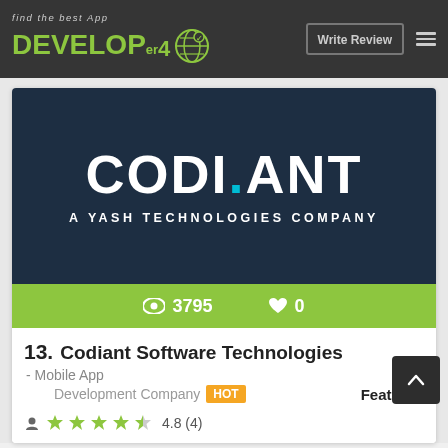find the best App DEVELOP er4 - Write Review
[Figure (logo): Codiant - A Yash Technologies Company logo on dark navy background]
3795 views   0 likes
13. Codiant Software Technologies - Mobile App Development Company HOT Featured
4.8 (4)